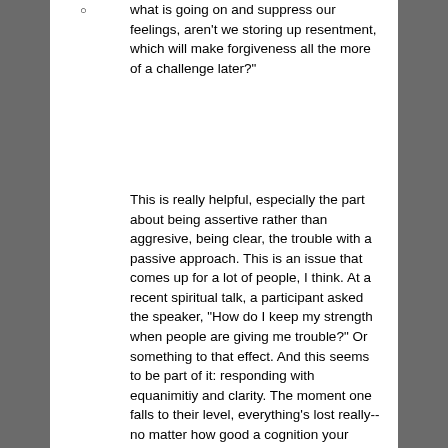what is going on and suppress our feelings, aren't we storing up resentment, which will make forgiveness all the more of a challenge later?"
This is really helpful, especially the part about being assertive rather than aggresive, being clear, the trouble with a passive approach. This is an issue that comes up for a lot of people, I think. At a recent spiritual talk, a participant asked the speaker, "How do I keep my strength when people are giving me trouble?" Or something to that effect. And this seems to be part of it: responding with equanimitiy and clarity. The moment one falls to their level, everything's lost really--no matter how good a cognition your demonstrating as you berate the person, noone will think you have the upper hand ethically, and the other person will then feel more and more justified to respond with more aggression. And, perhaps most importantly,